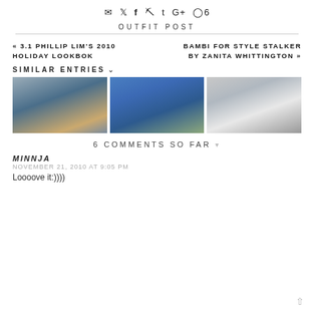✉ ✦ f ⊕ t G+ ◯6
OUTFIT POST
« 3.1 PHILLIP LIM'S 2010 HOLIDAY LOOKBOK
BAMBI FOR STYLE STALKER BY ZANITA WHITTINGTON »
SIMILAR ENTRIES
[Figure (photo): Woman in grey top and jeans walking on street]
[Figure (photo): Woman in blue floral dress on sidewalk]
[Figure (photo): Pregnant woman in grey sweatshirt holding belly]
6 COMMENTS SO FAR
MINNJA
NOVEMBER 21, 2010 AT 9:05 PM
Loooove it:))))